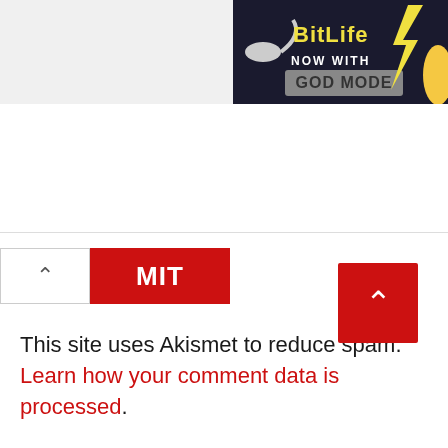[Figure (screenshot): BitLife advertisement banner with 'NOW WITH GOD MODE' text on dark background, top right corner]
[Figure (screenshot): Submit button (partial, showing 'MIT') with red background and an up-arrow chevron button to its left, below a horizontal divider]
This site uses Akismet to reduce spam. Learn how your comment data is processed.
[Figure (screenshot): Red scroll-to-top button with white up-arrow chevron, bottom right of page]